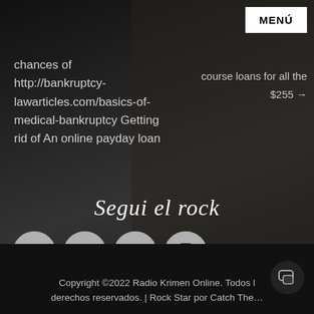MENÚ
chances of http://bankruptcy-lawarticles.com/basics-of-medical-bankruptcy Getting rid of An online payday loan
course loans for all the $255 →
Segui el rock
[Figure (infographic): Four circular social media icons: Facebook (f), Email (envelope), Instagram (camera), Mobile (phone)]
Copyright ©2022 Radio Krimen Online. Todos los derechos reservados. | Rock Star por Catch The...